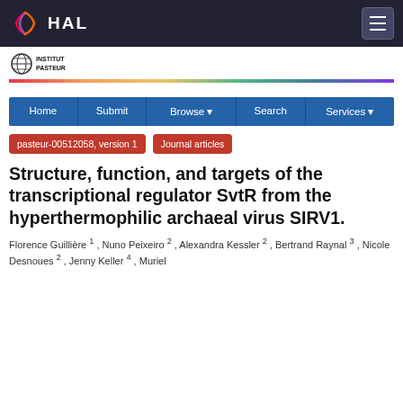HAL
[Figure (logo): Institut Pasteur logo with globe icon]
[Figure (other): Rainbow decorative bar]
Home | Submit | Browse | Search | Services
pasteur-00512058, version 1 | Journal articles
Structure, function, and targets of the transcriptional regulator SvtR from the hyperthermophilic archaeal virus SIRV1.
Florence Guillière 1 , Nuno Peixeiro 2 , Alexandra Kessler 2 , Bertrand Raynal 3 , Nicole Desnoues 2 , Jenny Keller 4 , Muriel ...